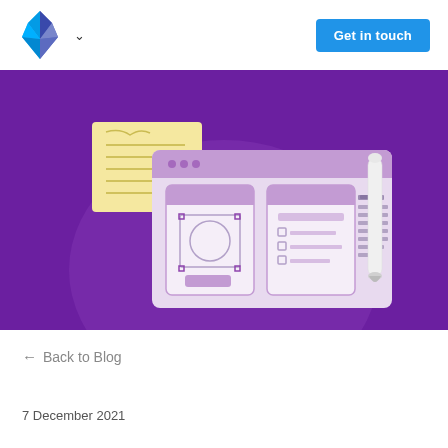[Figure (logo): Blue/purple diamond-shaped logo with angular facets, followed by a downward chevron arrow]
Get in touch
[Figure (illustration): Purple background banner showing a UI/UX wireframe illustration: a browser window with mobile wireframes, a sticky note, and a stylus pen]
← Back to Blog
7 December 2021